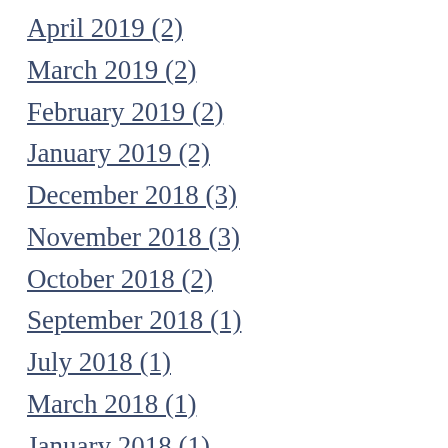April 2019 (2)
March 2019 (2)
February 2019 (2)
January 2019 (2)
December 2018 (3)
November 2018 (3)
October 2018 (2)
September 2018 (1)
July 2018 (1)
March 2018 (1)
January 2018 (1)
October 2017 (1)
July 2017 (1)